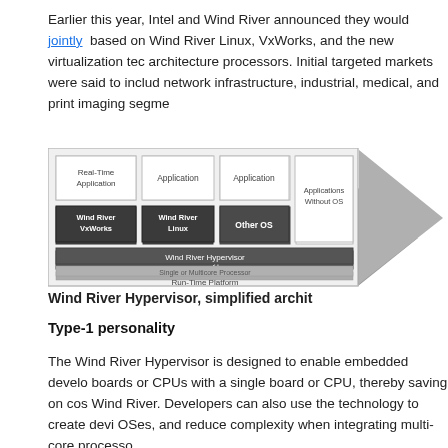Earlier this year, Intel and Wind River announced they would jointly based on Wind River Linux, VxWorks, and the new virtualization technology for Intel architecture processors. Initial targeted markets were said to include network infrastructure, industrial, medical, and print imaging segments.
[Figure (engineering-diagram): Wind River Hypervisor simplified architecture diagram showing Real-Time Application, Application, Application boxes on top; Wind River VxWorks, Wind River Linux, Other OS, and Applications Without OS boxes in middle layer; Wind River Hypervisor bar below; Single or Multicore Processor bar; and Run-Time Platform at the bottom. A grey triangle/arrow shape appears on the right side.]
Wind River Hypervisor, simplified archit...
Type-1 personality
The Wind River Hypervisor is designed to enable embedded developers to replace multiple boards or CPUs with a single board or CPU, thereby saving on cost. According to Wind River. Developers can also use the technology to create devices that run multiple OSes, and reduce complexity when integrating multi-core processors.